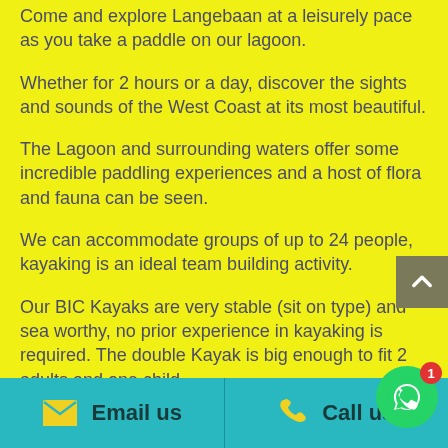Come and explore Langebaan at a leisurely pace as you take a paddle on our lagoon.
Whether for 2 hours or a day, discover the sights and sounds of the West Coast at its most beautiful.
The Lagoon and surrounding waters offer some incredible paddling experiences and a host of flora and fauna can be seen.
We can accommodate groups of up to 24 people, kayaking is an ideal team building activity.
Our BIC Kayaks are very stable (sit on type) and sea worthy, no prior experience in kayaking is required. The double Kayak is big enough to fit 2 adults and one child.
Email us | Call us